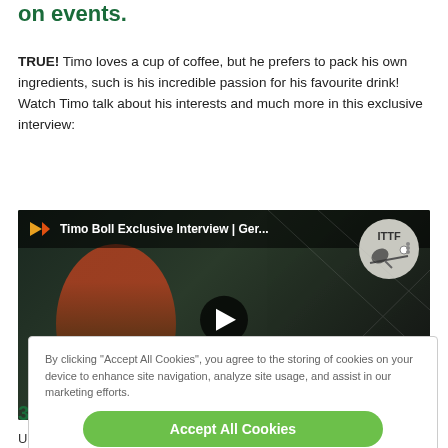on events.
TRUE! Timo loves a cup of coffee, but he prefers to pack his own ingredients, such is his incredible passion for his favourite drink! Watch Timo talk about his interests and much more in this exclusive interview:
[Figure (screenshot): YouTube video thumbnail showing Timo Boll Exclusive Interview | Ger... with a table tennis player celebrating and ITTF logo badge, with a play button overlay]
By clicking "Accept All Cookies", you agree to the storing of cookies on your device to enhance site navigation, analyze site usage, and assist in our marketing efforts.
Accept All Cookies